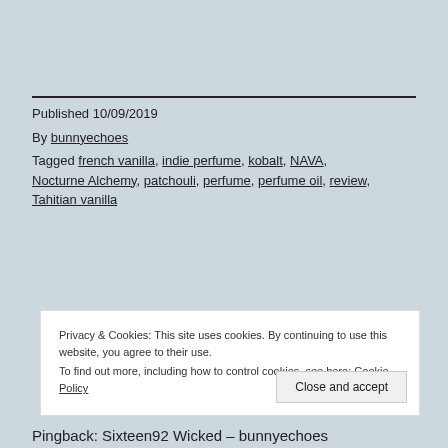Published 10/09/2019
By bunnyechoes
Tagged french vanilla, indie perfume, kobalt, NAVA, Nocturne Alchemy, patchouli, perfume, perfume oil, review, Tahitian vanilla
Privacy & Cookies: This site uses cookies. By continuing to use this website, you agree to their use.
To find out more, including how to control cookies, see here: Cookie Policy
Close and accept
Pingback: Sixteen92 Wicked – bunnyechoes